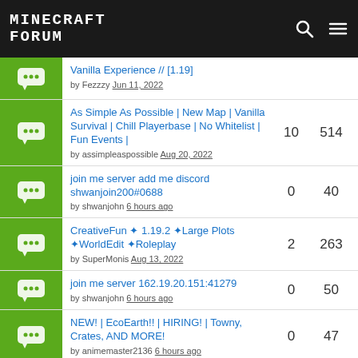Minecraft Forum
Vanilla Experience // [1.19] by Fezzzy Jun 11, 2022
As Simple As Possible | New Map | Vanilla Survival | Chill Playerbase | No Whitelist | Fun Events | by assimpleaspossible Aug 20, 2022 — replies: 10, views: 514
join me server add me discord shwanjoin200#0688 by shwanjohn 6 hours ago — replies: 0, views: 40
CreativeFun ✦ 1.19.2 ✦Large Plots ✦WorldEdit ✦Roleplay by SuperMonis Aug 13, 2022 — replies: 2, views: 263
join me server 162.19.20.151:41279 by shwanjohn 6 hours ago — replies: 0, views: 50
NEW! | EcoEarth!! | HIRING! | Towny, Crates, AND MORE! by animemaster2136 6 hours ago — replies: 0, views: 47
Eldenfall | Kingdoms | Races | Wars | Medieval | Lore | Towny | Releasing Soon! — replies: 7, views: 319